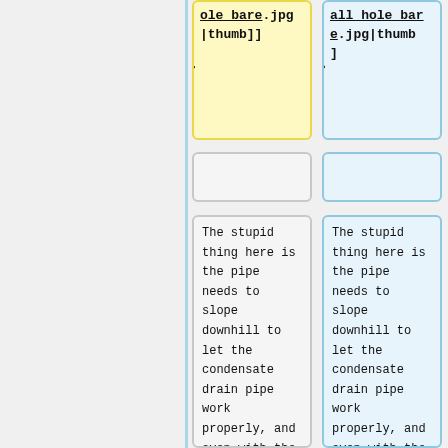ole_bare.jpg|thumb]]
all_hole_bare.jpg|thumb]
The stupid thing here is the pipe needs to slope downhill to let the condensate drain pipe work properly, and even with the centres of the holes clearly going
The stupid thing here is the pipe needs to slope downhill to let the condensate drain pipe work properly, and even with the centres of the holes clearly going